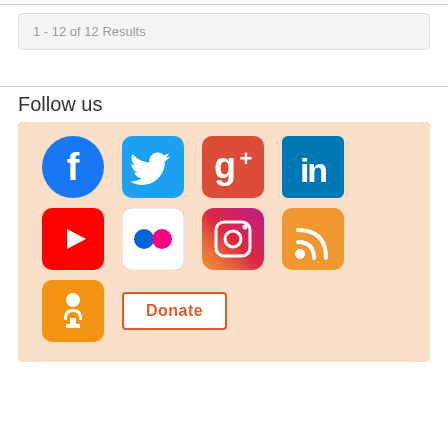1 - 12 of 12 Results
Follow us
[Figure (infographic): Social media icons grid: Facebook, Twitter, Google+, LinkedIn (top row); YouTube, Flickr, Instagram, RSS (middle row); Odnoklassniki, Donate button (bottom row), on peach/light orange background]